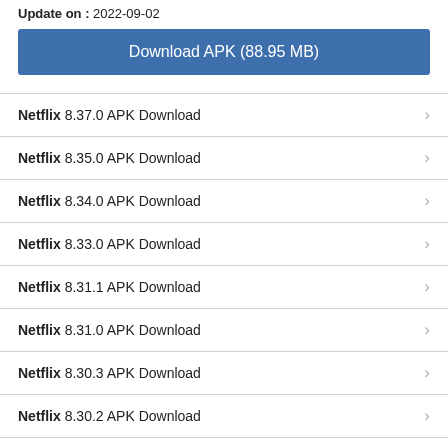Update on : 2022-09-02
Download APK (88.95 MB)
Netflix 8.37.0 APK Download
Netflix 8.35.0 APK Download
Netflix 8.34.0 APK Download
Netflix 8.33.0 APK Download
Netflix 8.31.1 APK Download
Netflix 8.31.0 APK Download
Netflix 8.30.3 APK Download
Netflix 8.30.2 APK Download
Netflix 8.30.0 APK Download
Netflix 8.27.0 APK Download
Netflix 8.26.0 APK Download